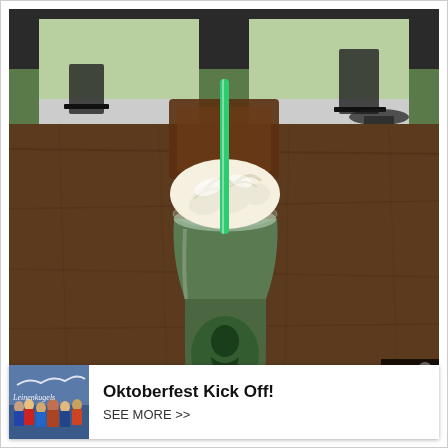[Figure (photo): A Starbucks Frappuccino with whipped cream topping and a green straw, sitting on a wooden table inside a café. Background shows an outdoor patio area with chairs.]
[Figure (photo): Small thumbnail photo for Leinenkugels Oktoberfest ad showing a crowd at an outdoor event.]
close ✕
Oktoberfest Kick Off!
SEE MORE >>